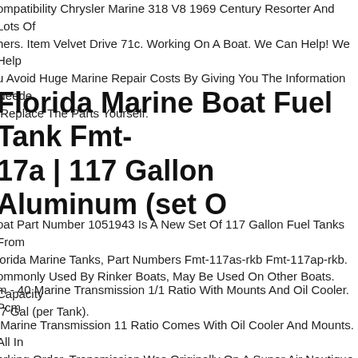ompatibility Chrysler Marine 318 V8 1969 Century Resorter And Lots Of hers. Item Velvet Drive 71c. Working On A Boat. We Can Help! We Help u Avoid Huge Marine Repair Costs By Giving You The Information Neede Replace The Parts Yourself.
Florida Marine Boat Fuel Tank Fmt-17a | 117 Gallon Aluminum (set O
oat Part Number 1051943 Is A New Set Of 117 Gallon Fuel Tanks From lorida Marine Tanks, Part Numbers Fmt-117as-rkb Fmt-117ap-rkb. ommonly Used By Rinker Boats, May Be Used On Other Boats. Capacity 7 Gal (per Tank).
m - 40 Marine Transmission 1/1 Ratio With Mounts And Oil Cooler. Pcm Marine Transmission 11 Ratio Comes With Oil Cooler And Mounts. All In orking Order. Transmission Was Originally On A Super Air Nautique. The oat Had Less Than 300 Hours. It Had Just Been Serviced And Was volved In Traffic Accident. The Boat Was Rolled In Accident. The Boat Wa arted Out. I Needed The V-drive And The Transmission Was Sold With Th drive. I Have Been Using The V-drive In My Super Air Nautique For 5